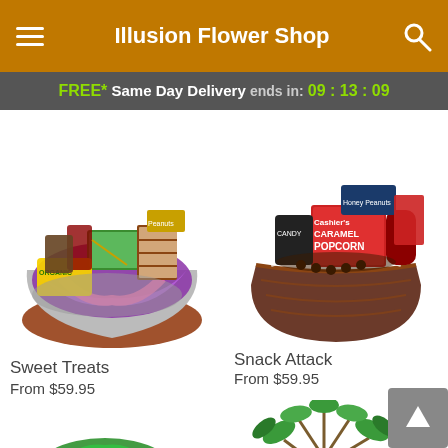Illusion Flower Shop
FREE* Same Day Delivery ends in: 09 : 13 : 09
[Figure (photo): Gift basket called Sweet Treats with snacks, organic items, and colorful tissue paper in purple and pink]
Sweet Treats
From $59.95
[Figure (photo): Gift basket called Snack Attack with caramel popcorn, candy, and assorted snacks in a wicker basket]
Snack Attack
From $59.95
[Figure (photo): Green plant arrangement in a round oval glass bowl with various green and dark foliage]
[Figure (photo): Green tropical plant (money tree or similar) in a pot with multiple green leaves]